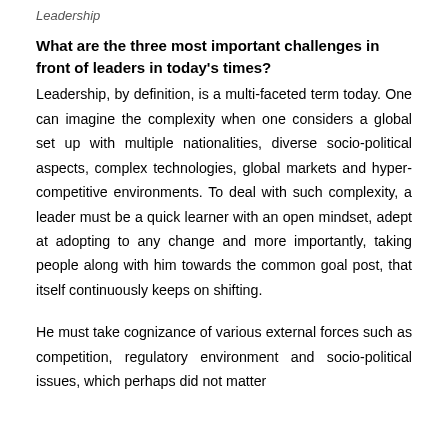Leadership
What are the three most important challenges in front of leaders in today's times?
Leadership, by definition, is a multi-faceted term today. One can imagine the complexity when one considers a global set up with multiple nationalities, diverse socio-political aspects, complex technologies, global markets and hyper-competitive environments. To deal with such complexity, a leader must be a quick learner with an open mindset, adept at adopting to any change and more importantly, taking people along with him towards the common goal post, that itself continuously keeps on shifting.
He must take cognizance of various external forces such as competition, regulatory environment and socio-political issues, which perhaps did not matter